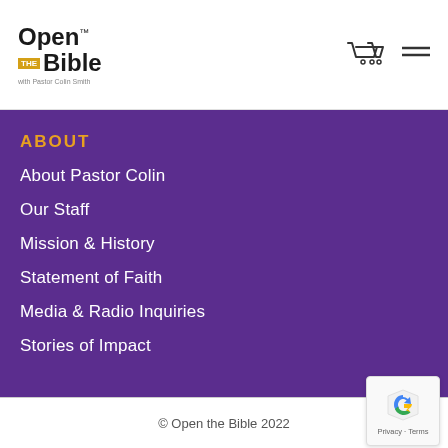[Figure (logo): Open the Bible logo with Pastor Colin Smith text]
ABOUT
About Pastor Colin
Our Staff
Mission & History
Statement of Faith
Media & Radio Inquiries
Stories of Impact
© Open the Bible 2022